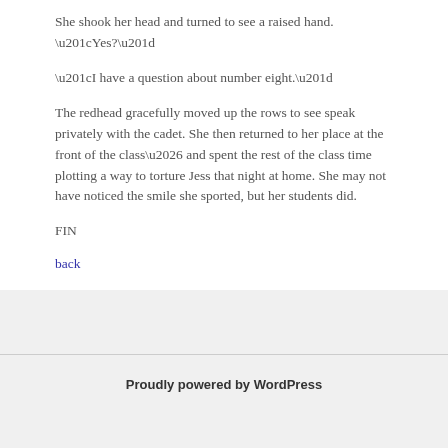She shook her head and turned to see a raised hand.
“Yes?”
“I have a question about number eight.”
The redhead gracefully moved up the rows to see speak privately with the cadet. She then returned to her place at the front of the class… and spent the rest of the class time plotting a way to torture Jess that night at home. She may not have noticed the smile she sported, but her students did.
FIN
back
Proudly powered by WordPress